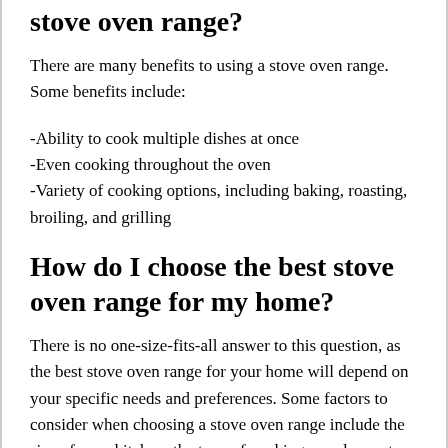stove oven range?
There are many benefits to using a stove oven range. Some benefits include:
-Ability to cook multiple dishes at once
-Even cooking throughout the oven
-Variety of cooking options, including baking, roasting, broiling, and grilling
How do I choose the best stove oven range for my home?
There is no one-size-fits-all answer to this question, as the best stove oven range for your home will depend on your specific needs and preferences. Some factors to consider when choosing a stove oven range include the size of your kitchen, the type of cooking you do most often, and your budget.